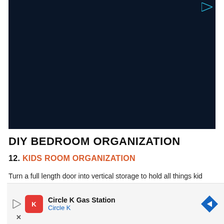[Figure (screenshot): Dark navy blue video player with a play button icon in the top right corner]
DIY BEDROOM ORGANIZATION
12. KIDS ROOM ORGANIZATION
Turn a full length door into vertical storage to hold all things kid with a full length mirror as center stage.
[Figure (screenshot): Advertisement banner for Circle K Gas Station with Circle K logo, navigation arrow icon, play button, and close X button]